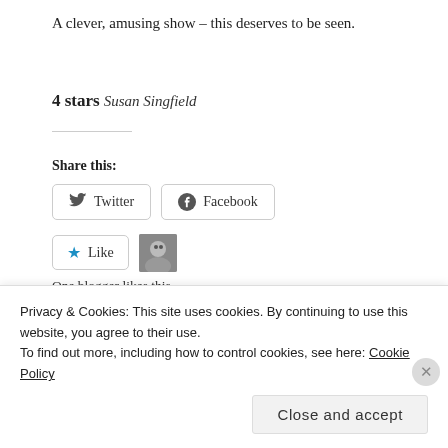A clever, amusing show – this deserves to be seen.
4 stars
Susan Singfield
Share this:
[Figure (other): Twitter and Facebook share buttons; Like button with avatar; 'One blogger likes this.' text]
One blogger likes this.
Privacy & Cookies: This site uses cookies. By continuing to use this website, you agree to their use. To find out more, including how to control cookies, see here: Cookie Policy
Close and accept